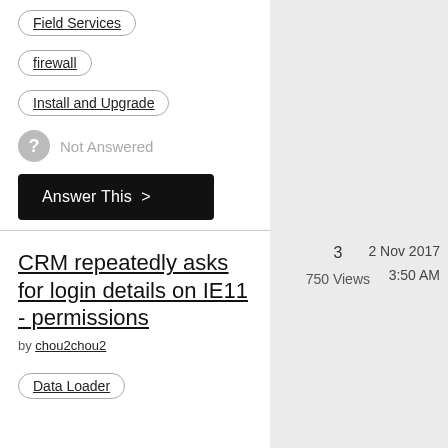Field Services
firewall
Install and Upgrade
Not Answered
Answer This >
CRM repeatedly asks for login details on IE11 - permissions
by chou2chou2
3
750 Views
2 Nov 2017
3:50 AM
Data Loader